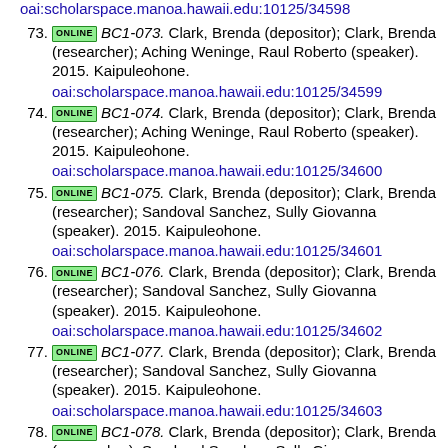oai:scholarspace.manoa.hawaii.edu:10125/34598
73. ONLINE BC1-073. Clark, Brenda (depositor); Clark, Brenda (researcher); Aching Weninge, Raul Roberto (speaker). 2015. Kaipuleohone. oai:scholarspace.manoa.hawaii.edu:10125/34599
74. ONLINE BC1-074. Clark, Brenda (depositor); Clark, Brenda (researcher); Aching Weninge, Raul Roberto (speaker). 2015. Kaipuleohone. oai:scholarspace.manoa.hawaii.edu:10125/34600
75. ONLINE BC1-075. Clark, Brenda (depositor); Clark, Brenda (researcher); Sandoval Sanchez, Sully Giovanna (speaker). 2015. Kaipuleohone. oai:scholarspace.manoa.hawaii.edu:10125/34601
76. ONLINE BC1-076. Clark, Brenda (depositor); Clark, Brenda (researcher); Sandoval Sanchez, Sully Giovanna (speaker). 2015. Kaipuleohone. oai:scholarspace.manoa.hawaii.edu:10125/34602
77. ONLINE BC1-077. Clark, Brenda (depositor); Clark, Brenda (researcher); Sandoval Sanchez, Sully Giovanna (speaker). 2015. Kaipuleohone. oai:scholarspace.manoa.hawaii.edu:10125/34603
78. ONLINE BC1-078. Clark, Brenda (depositor); Clark, Brenda (researcher); Sandoval Sanchez, Sully Giovanna (speaker). 2015. Kaipuleohone. oai:scholarspace.manoa.hawaii.edu:10125/34604
79. ONLINE BC1-079. Clark, Brenda (depositor); Clark, Brenda (researcher); Sandoval Sanchez, Sully Giovanna (speaker). 2015. Kaipuleohone.